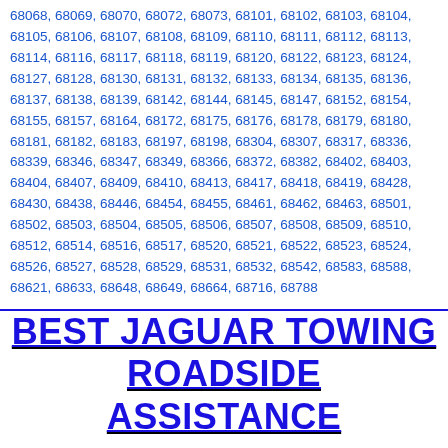68068, 68069, 68070, 68072, 68073, 68101, 68102, 68103, 68104, 68105, 68106, 68107, 68108, 68109, 68110, 68111, 68112, 68113, 68114, 68116, 68117, 68118, 68119, 68120, 68122, 68123, 68124, 68127, 68128, 68130, 68131, 68132, 68133, 68134, 68135, 68136, 68137, 68138, 68139, 68142, 68144, 68145, 68147, 68152, 68154, 68155, 68157, 68164, 68172, 68175, 68176, 68178, 68179, 68180, 68181, 68182, 68183, 68197, 68198, 68304, 68307, 68317, 68336, 68339, 68346, 68347, 68349, 68366, 68372, 68382, 68402, 68403, 68404, 68407, 68409, 68410, 68413, 68417, 68418, 68419, 68428, 68430, 68438, 68446, 68454, 68455, 68461, 68462, 68463, 68501, 68502, 68503, 68504, 68505, 68506, 68507, 68508, 68509, 68510, 68512, 68514, 68516, 68517, 68520, 68521, 68522, 68523, 68524, 68526, 68527, 68528, 68529, 68531, 68532, 68542, 68583, 68588, 68621, 68633, 68648, 68649, 68664, 68716, 68788
BEST JAGUAR TOWING ROADSIDE ASSISTANCE